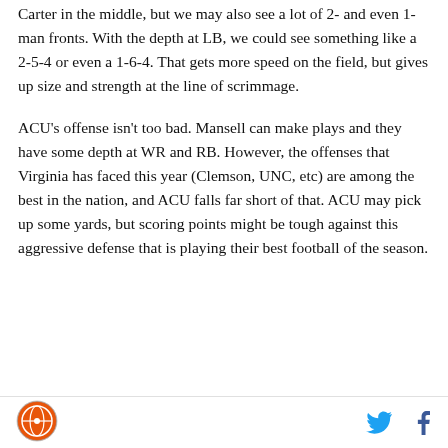Carter in the middle, but we may also see a lot of 2- and even 1-man fronts. With the depth at LB, we could see something like a 2-5-4 or even a 1-6-4. That gets more speed on the field, but gives up size and strength at the line of scrimmage.
ACU's offense isn't too bad. Mansell can make plays and they have some depth at WR and RB. However, the offenses that Virginia has faced this year (Clemson, UNC, etc) are among the best in the nation, and ACU falls far short of that. ACU may pick up some yards, but scoring points might be tough against this aggressive defense that is playing their best football of the season.
[Figure (logo): Circular orange and white sports logo in the footer]